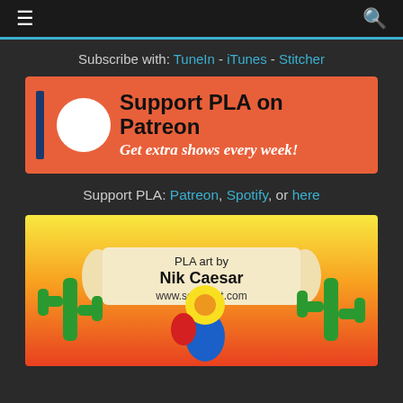≡  🔍
Subscribe with: TuneIn - iTunes - Stitcher
[Figure (illustration): Banner advertisement for Support PLA on Patreon - orange background with dark blue stripe, white circle, bold text reading 'Support PLA on Patreon' and italic subtitle 'Get extra shows every week!']
Support PLA: Patreon, Spotify, or here
[Figure (illustration): PLA art by Nik Caesar www.scary-art.com - colorful illustration with yellow-orange-red gradient background, banner scroll with text, green cacti on sides, and cartoon character figures at bottom]